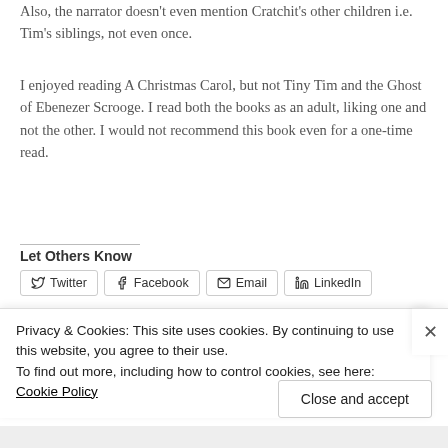Also, the narrator doesn't even mention Cratchit's other children i.e. Tim's siblings, not even once.
I enjoyed reading A Christmas Carol, but not Tiny Tim and the Ghost of Ebenezer Scrooge. I read both the books as an adult, liking one and not the other. I would not recommend this book even for a one-time read.
Let Others Know
[Figure (other): Share buttons for Twitter, Facebook, Email, LinkedIn]
Privacy & Cookies: This site uses cookies. By continuing to use this website, you agree to their use.
To find out more, including how to control cookies, see here: Cookie Policy
Close and accept